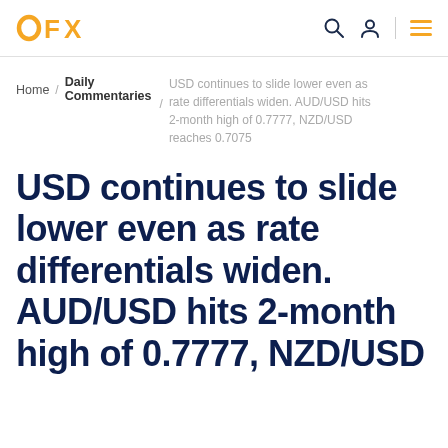OFX
Home / Daily Commentaries / USD continues to slide lower even as rate differentials widen. AUD/USD hits 2-month high of 0.7777, NZD/USD reaches 0.7075
USD continues to slide lower even as rate differentials widen. AUD/USD hits 2-month high of 0.7777, NZD/USD